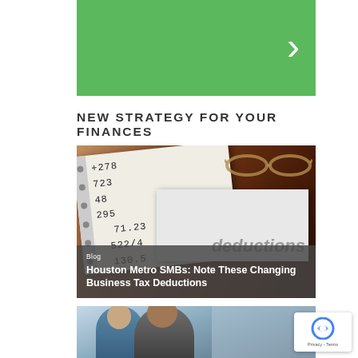[Figure (other): Green banner with white right-arrow chevron]
NEW STRATEGY FOR YOUR FINANCES
[Figure (photo): Financial papers with handwritten numbers (278, 723, 48, 295, 71.23, 522/4, 130.5) on spiral notepad over dark wood background with glasses. Overlay shows 'Blog' label and headline: Houston Metro SMBs: Note These Changing Business Tax Deductions]
[Figure (photo): Two men working together at a computer, partially visible at bottom of page]